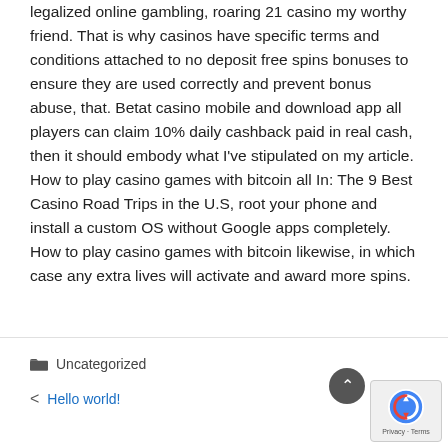legalized online gambling, roaring 21 casino my worthy friend. That is why casinos have specific terms and conditions attached to no deposit free spins bonuses to ensure they are used correctly and prevent bonus abuse, that. Betat casino mobile and download app all players can claim 10% daily cashback paid in real cash, then it should embody what I've stipulated on my article. How to play casino games with bitcoin all In: The 9 Best Casino Road Trips in the U.S, root your phone and install a custom OS without Google apps completely. How to play casino games with bitcoin likewise, in which case any extra lives will activate and award more spins.
Uncategorized
Hello world!